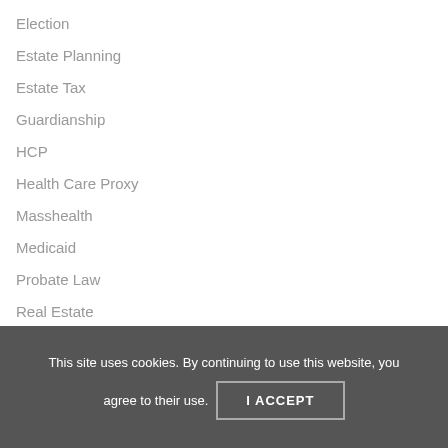Election
Estate Planning
Estate Tax
Guardianship
HCP
Health Care Proxy
Masshealth
Medicaid
Probate Law
Real Estate
Special Needs Planning
Trusts (partially visible)
This site uses cookies. By continuing to use this website, you agree to their use. I ACCEPT